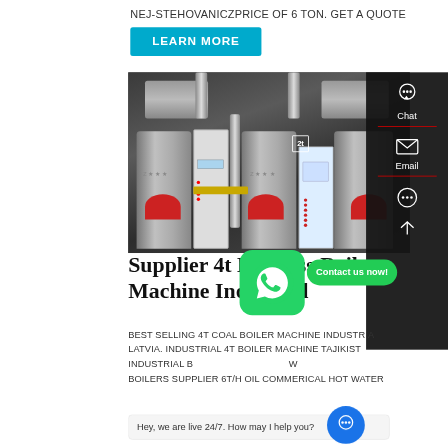NEJ-STEHOVANICZPRICE OF 6 TON. GET A QUOTE
LEARN MORE
[Figure (photo): Industrial boiler machines in a factory setting, showing two large cylindrical steam boilers with red burners, control panels, and piping]
Supplier 4t Biomass Boiler Machine Industrial
BEST SELLING 4T COAL BOILER MACHINE INDUSTRIAL LATVIA. INDUSTRIAL 4T BOILER MACHINE TAJIKIST INDUSTRIAL BOILERS SUPPLIER 6T/H OIL COMMERICAL HOT WATER BOILERS SUPPLIER 6T/H OIL COMMERICAL HOT WATER